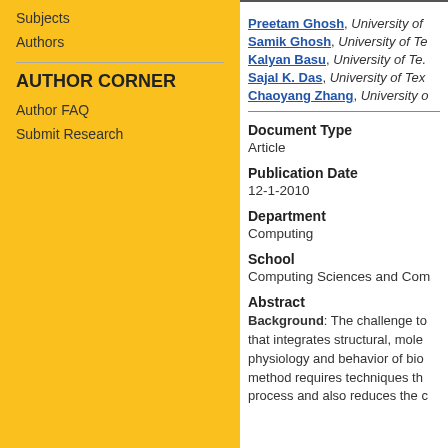Subjects
Authors
AUTHOR CORNER
Author FAQ
Submit Research
Preetam Ghosh, University of...
Samik Ghosh, University of Te...
Kalyan Basu, University of Te...
Sajal K. Das, University of Tex...
Chaoyang Zhang, University o...
Document Type
Article
Publication Date
12-1-2010
Department
Computing
School
Computing Sciences and Com...
Abstract
Background: The challenge to that integrates structural, mole physiology and behavior of bio method requires techniques th process and also reduces the c